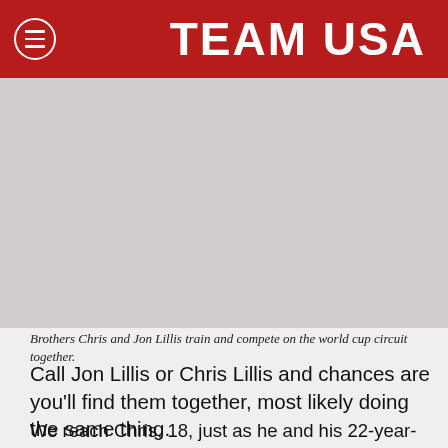TEAM USA
[Figure (photo): Photo of brothers Chris and Jon Lillis at a freestyle pool with water ramps]
Brothers Chris and Jon Lillis train and compete on the world cup circuit together.
Call Jon Lillis or Chris Lillis and chances are you'll find them together, most likely doing the same thing.
We reach Chris, 18, just as he and his 22-year-old brother are rebuilding water ramps at the freestyle pool at Utah